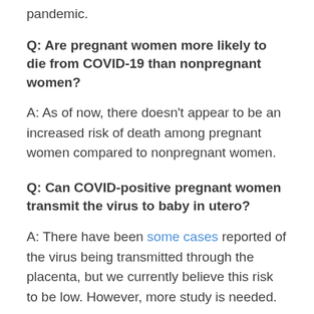pandemic.
Q: Are pregnant women more likely to die from COVID-19 than nonpregnant women?
A: As of now, there doesn't appear to be an increased risk of death among pregnant women compared to nonpregnant women.
Q: Can COVID-positive pregnant women transmit the virus to baby in utero?
A: There have been some cases reported of the virus being transmitted through the placenta, but we currently believe this risk to be low. However, more study is needed.
Q: Are COVID-positive pregnant women more likely to miscarry or deliver preterm?